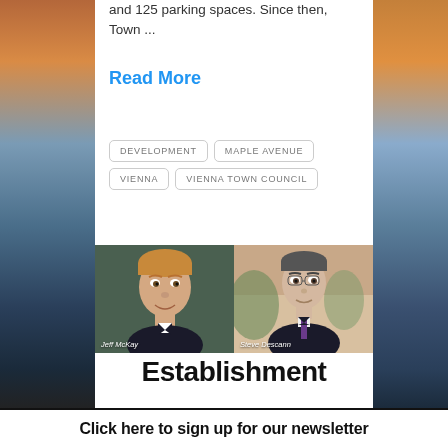and 125 parking spaces. Since then, Town ...
Read More
DEVELOPMENT
MAPLE AVENUE
VIENNA
VIENNA TOWN COUNCIL
[Figure (photo): Headshot of Jeff McKay, man with light hair in dark jacket]
[Figure (photo): Headshot of Steve Descann, man in dark suit with purple tie]
Establishment
Click here to sign up for our newsletter